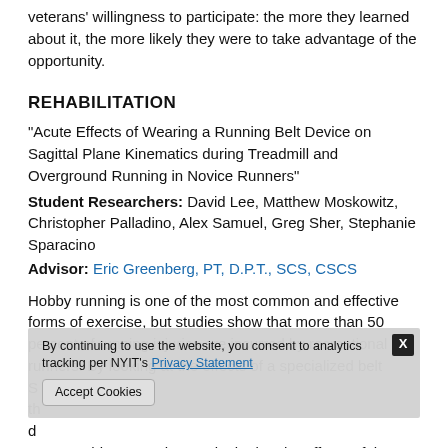veterans' willingness to participate: the more they learned about it, the more likely they were to take advantage of the opportunity.
REHABILITATION
“Acute Effects of Wearing a Running Belt Device on Sagittal Plane Kinematics during Treadmill and Overground Running in Novice Runners”
Student Researchers:  David Lee, Matthew Moskowitz, Christopher Palladino, Alex Samuel, Greg Sher, Stephanie Sparacino
Advisor: Eric Greenberg, PT, D.P.T., SCS, CSCS
Hobby running is one of the most common and effective forms of exercise, but studies show that more than 50 percent of running injuries are incurred by recreational runners. By looking at the effects of a specialized belt s... th... d... runners, this research team looked at the effects of the use